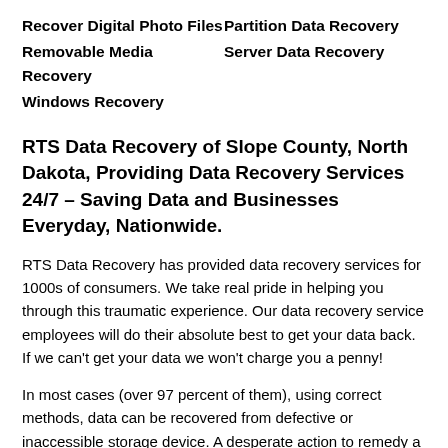Recover Digital Photo Files
Partition Data Recovery
Removable Media Recovery
Server Data Recovery
Windows Recovery
RTS Data Recovery of Slope County, North Dakota, Providing Data Recovery Services 24/7 – Saving Data and Businesses Everyday, Nationwide.
RTS Data Recovery has provided data recovery services for 1000s of consumers. We take real pride in helping you through this traumatic experience. Our data recovery service employees will do their absolute best to get your data back. If we can't get your data we won't charge you a penny!
In most cases (over 97 percent of them), using correct methods, data can be recovered from defective or inaccessible storage device. A desperate action to remedy a data loss issue can often compound the trouble, with a serious possibility of causing